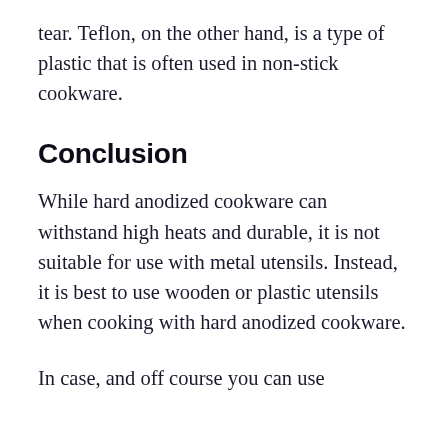tear. Teflon, on the other hand, is a type of plastic that is often used in non-stick cookware.
Conclusion
While hard anodized cookware can withstand high heats and durable, it is not suitable for use with metal utensils. Instead, it is best to use wooden or plastic utensils when cooking with hard anodized cookware.
In case, and off course you can use